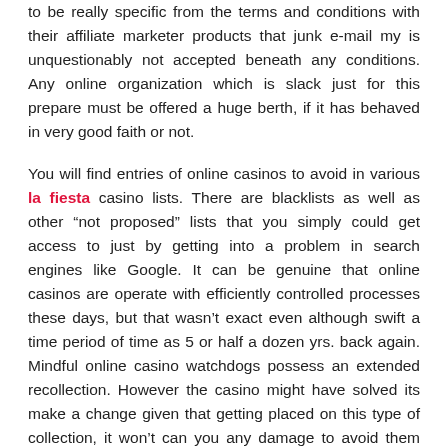to be really specific from the terms and conditions with their affiliate marketer products that junk e-mail my is unquestionably not accepted beneath any conditions. Any online organization which is slack just for this prepare must be offered a huge berth, if it has behaved in very good faith or not.
You will find entries of online casinos to avoid in various la fiesta casino lists. There are blacklists as well as other “not proposed” lists that you simply could get access to just by getting into a problem in search engines like Google. It can be genuine that online casinos are operate with efficiently controlled processes these days, but that wasn’t exact even although swift a time period of time as 5 or half a dozen yrs. back again. Mindful online casino watchdogs possess an extended recollection. However the casino might have solved its make a change given that getting placed on this type of collection, it won’t can you any damage to avoid them need to they are thorough earlier. Furthermore, it encourages new casinos to never stray from the specifically